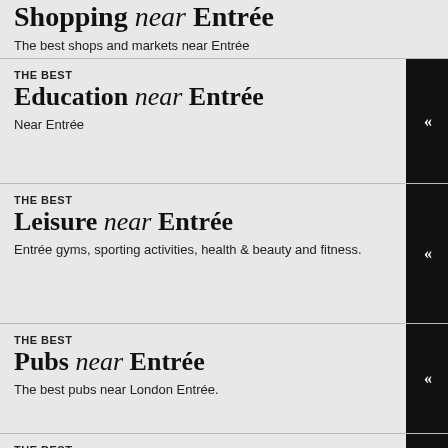Shopping near Entrée
The best shops and markets near Entrée
THE BEST Education near Entrée
Near Entrée
THE BEST Leisure near Entrée
Entrée gyms, sporting activities, health & beauty and fitness.
THE BEST Pubs near Entrée
The best pubs near London Entrée.
THE BEST